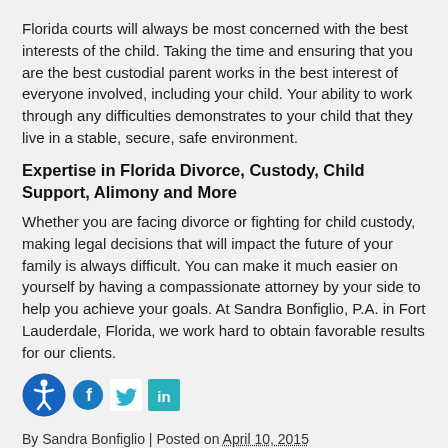Florida courts will always be most concerned with the best interests of the child. Taking the time and ensuring that you are the best custodial parent works in the best interest of everyone involved, including your child. Your ability to work through any difficulties demonstrates to your child that they live in a stable, secure, safe environment.
Expertise in Florida Divorce, Custody, Child Support, Alimony and More
Whether you are facing divorce or fighting for child custody, making legal decisions that will impact the future of your family is always difficult. You can make it much easier on yourself by having a compassionate attorney by your side to help you achieve your goals. At Sandra Bonfiglio, P.A. in Fort Lauderdale, Florida, we work hard to obtain favorable results for our clients.
[Figure (infographic): Accessibility icon and social media share buttons: Facebook (blue circle with f), Twitter (teal bird icon), LinkedIn (teal square with in)]
By Sandra Bonfiglio | Posted on April 10, 2015